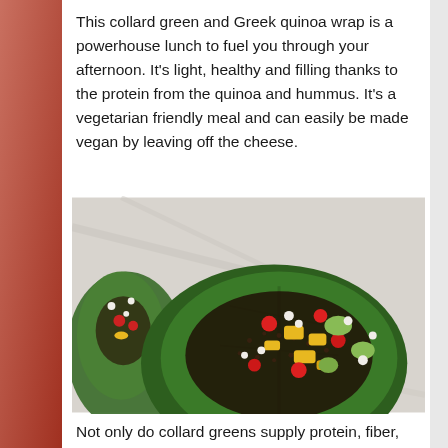This collard green and Greek quinoa wrap is a powerhouse lunch to fuel you through your afternoon. It's light, healthy and filling thanks to the protein from the quinoa and hummus. It's a vegetarian friendly meal and can easily be made vegan by leaving off the cheese.
[Figure (photo): Overhead photo of collard green wraps filled with quinoa, cherry tomatoes, yellow bell peppers, cucumber, and crumbled white cheese on a marble surface.]
Not only do collard greens supply protein, fiber,